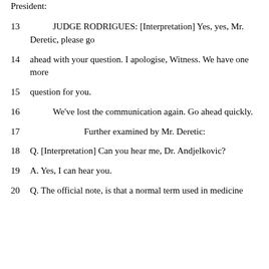President:
13      JUDGE RODRIGUES: [Interpretation] Yes, yes, Mr. Deretic, please go
14   ahead with your question.  I apologise, Witness.  We have one more
15   question for you.
16      We've lost the communication again.  Go ahead quickly.
17               Further examined by Mr. Deretic:
18      Q.  [Interpretation] Can you hear me, Dr. Andjelkovic?
19      A.  Yes, I can hear you.
20      Q.  The official note, is that a normal term used in medicine